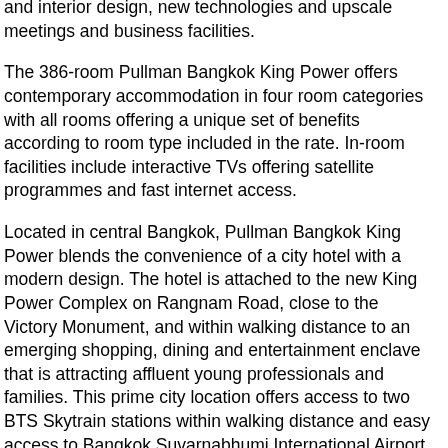and interior design, new technologies and upscale meetings and business facilities.
The 386-room Pullman Bangkok King Power offers contemporary accommodation in four room categories with all rooms offering a unique set of benefits according to room type included in the rate. In-room facilities include interactive TVs offering satellite programmes and fast internet access.
Located in central Bangkok, Pullman Bangkok King Power blends the convenience of a city hotel with a modern design. The hotel is attached to the new King Power Complex on Rangnam Road, close to the Victory Monument, and within walking distance to an emerging shopping, dining and entertainment enclave that is attracting affluent young professionals and families. This prime city location offers access to two BTS Skytrain stations within walking distance and easy access to Bangkok Suvarnabhumi International Airport via two expressway entrances.